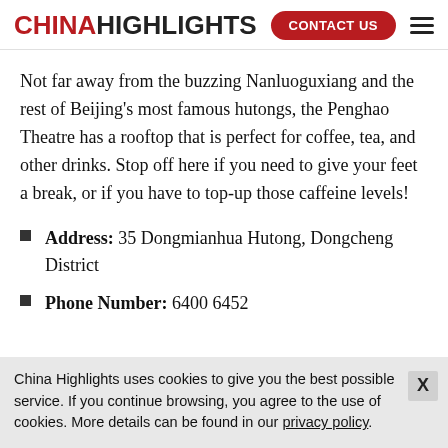CHINA HIGHLIGHTS | CONTACT US
Not far away from the buzzing Nanluoguxiang and the rest of Beijing's most famous hutongs, the Penghao Theatre has a rooftop that is perfect for coffee, tea, and other drinks. Stop off here if you need to give your feet a break, or if you have to top-up those caffeine levels!
Address: 35 Dongmianhua Hutong, Dongcheng District
Phone Number: 6400 6452
China Highlights uses cookies to give you the best possible service. If you continue browsing, you agree to the use of cookies. More details can be found in our privacy policy.